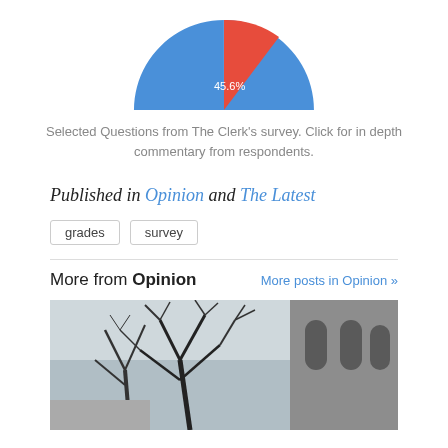[Figure (pie-chart): Pie chart partial]
Selected Questions from The Clerk's survey. Click for in depth commentary from respondents.
Published in Opinion and The Latest
grades
survey
More from Opinion
More posts in Opinion »
[Figure (photo): Bare winter trees with a stone church building in the background against a light sky.]